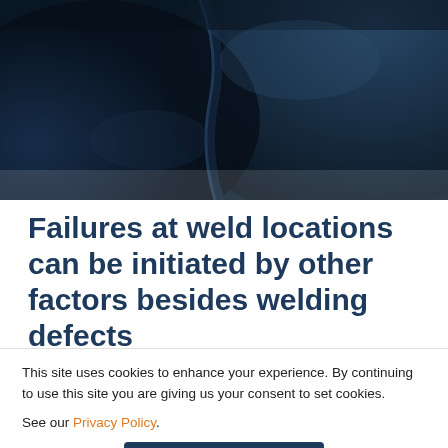[Figure (photo): Dark navy blue industrial background showing curved metal surfaces, likely welded pipe or vessel, with dramatic lighting.]
Failures at weld locations can be initiated by other factors besides welding defects
This site uses cookies to enhance your experience. By continuing to use this site you are giving us your consent to set cookies.
See our Privacy Policy.
OK